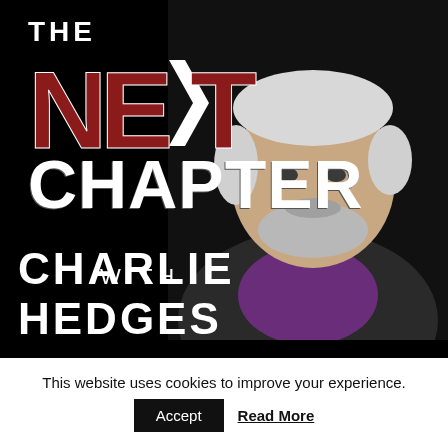[Figure (illustration): Podcast cover art for 'The Next Chapter with Charlie Hedges'. Black background with large red and white bold text showing THE NEXT CHAPTER on the left, and a smiling older man with white hair and beard wearing a dark jacket and purple shirt on the right.]
This website uses cookies to improve your experience.
Accept   Read More